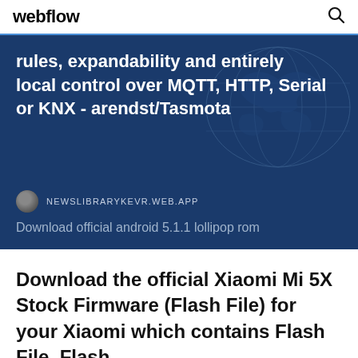webflow
rules, expandability and entirely local control over MQTT, HTTP, Serial or KNX - arendst/Tasmota
NEWSLIBRARYKEVR.WEB.APP
Download official android 5.1.1 lollipop rom
Download the official Xiaomi Mi 5X Stock Firmware (Flash File) for your Xiaomi which contains Flash File, Flash